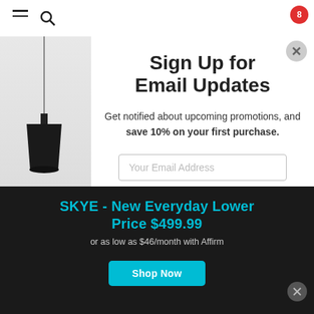Navigation bar with hamburger menu and search icon
[Figure (photo): Product photo of a minimalist black pendant lamp hanging against a light grey wall background]
Sign Up for Email Updates
Get notified about upcoming promotions, and save 10% on your first purchase.
Your Email Address
SKYE - New Everyday Lower Price $499.99
or as low as $46/month with Affirm
Shop Now